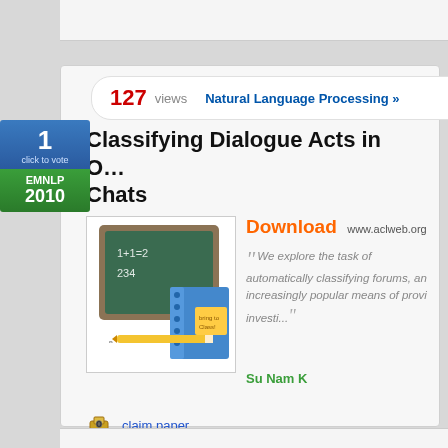127 views  Natural Language Processing »
Classifying Dialogue Acts in Online Chats
[Figure (illustration): Illustration of a chalkboard notebook with math equations and a sticky note]
Download  www.aclweb.org
We explore the task of automatically classifying forums, an increasingly popular means of provi investi...
Su Nam K
claim paper